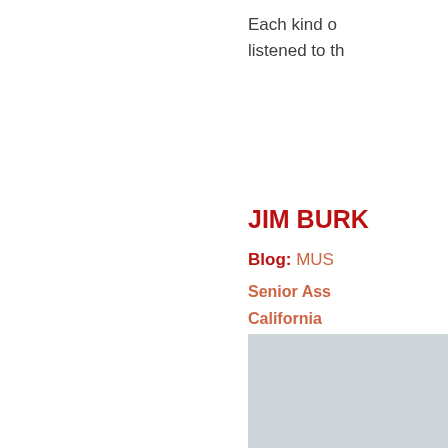Each kind o... listened to th...
JIM BURK
Blog: MUS... Senior Ass... California...
[Figure (photo): Grey placeholder photo box for Jim Burk]
June 03, 20...
HOW? CA...
[Figure (photo): Bottom image partially visible]